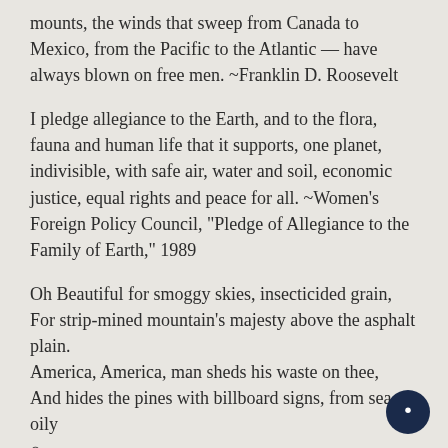mounts, the winds that sweep from Canada to Mexico, from the Pacific to the Atlantic — have always blown on free men. ~Franklin D. Roosevelt
I pledge allegiance to the Earth, and to the flora, fauna and human life that it supports, one planet, indivisible, with safe air, water and soil, economic justice, equal rights and peace for all. ~Women's Foreign Policy Council, "Pledge of Allegiance to the Family of Earth," 1989
Oh Beautiful for smoggy skies, insecticided grain,
For strip-mined mountain's majesty above the asphalt plain.
America, America, man sheds his waste on thee,
And hides the pines with billboard signs, from sea to oily ⊕
sea.
~George Carlin